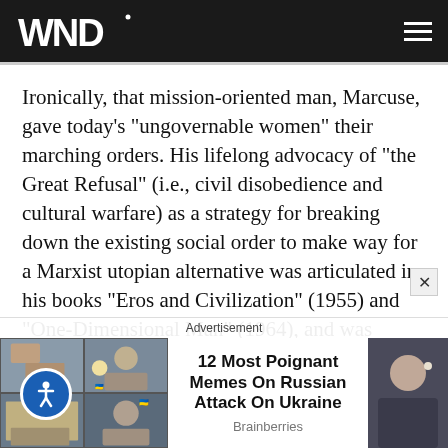WND
Ironically, that mission-oriented man, Marcuse, gave today's "ungovernable women" their marching orders. His lifelong advocacy of "the Great Refusal" (i.e., civil disobedience and cultural warfare) as a strategy for breaking down the existing social order to make way for a Marxist utopian alternative was articulated in his books "Eros and Civilization" (1955) and "One-Dimensional Man" (1964), and was adopted by the Stonewall-era "gay" leaders in the 1960s (and their political heirs) who
Advertisement
[Figure (screenshot): Advertisement banner: Grid of four images on the left showing people, with accessibility icon overlay. Center text reads '12 Most Poignant Memes On Russian Attack On Ukraine' with source 'Brainberries'. Right side shows partial photo of a person.]